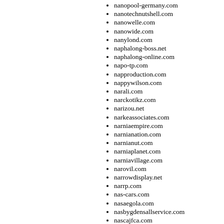nanopool-germany.com
nanotechnutshell.com
nanowelle.com
nanowide.com
nanylond.com
naphalong-boss.net
naphalong-online.com
napo-tp.com
napproduction.com
nappywilson.com
narali.com
narckotikz.com
narizou.net
narkeassociates.com
narniaempire.com
narnianation.com
narnianut.com
narniaplanet.com
narniavillage.com
narovil.com
narrowdisplay.net
narrp.com
nas-cars.com
nasaegola.com
nasbygdensallservice.com
nascajfca.com
nascarsherpa.com
naseejtex.com